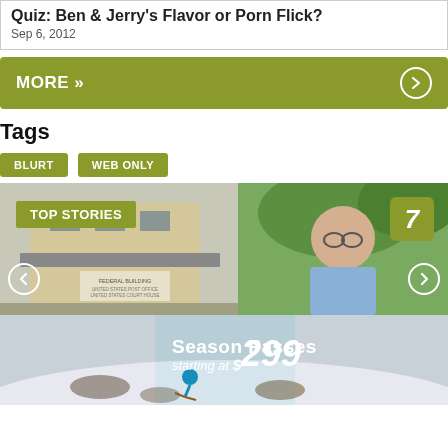Quiz: Ben & Jerry's Flavor or Porn Flick?
Sep 6, 2012
MORE »
Tags
BLURT
WEB ONLY
[Figure (photo): Top Stories photo banner showing a Federal Building on the left and an elderly man smiling on the right, with navigation arrows and a number 7 badge]
[Figure (photo): Advertisement banner: Season Passes starting at $299 with a skier on a slope]